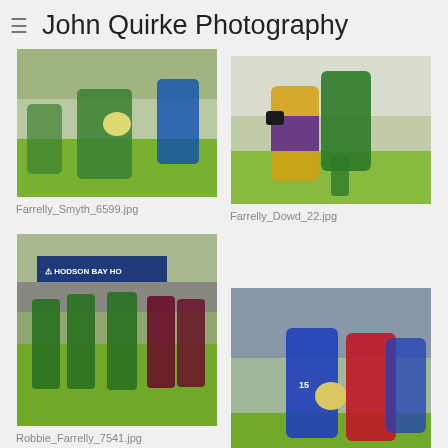John Quirke Photography
[Figure (photo): GAA Gaelic football action shot, player in green and white jersey carrying ball, referee in blue behind, green pitch background]
Farrelly_Smyth_6599.jpg
[Figure (photo): GAA Gaelic football action shot, player in green jersey competing against player in yellow and purple, mid-air action]
Farrelly_Dowd_22.jpg
[Figure (photo): GAA Gaelic football match action, green-jersied team vs maroon team, Hodson Bay Hotel advertising banner visible, players running]
Robbie_Farrelly_7541.jpg
[Figure (photo): GAA Gaelic football action, player in blue jersey holding ball contested by red-jersied opponent, crowd background]
Robbie_Farrelly_3150.jpg